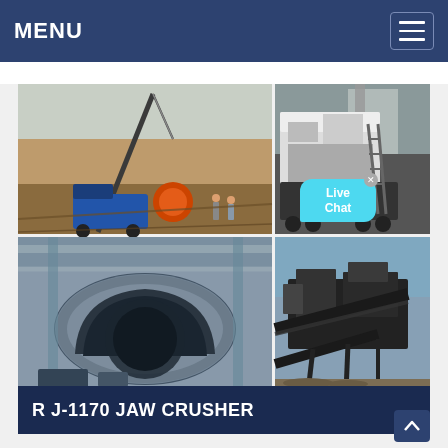MENU
[Figure (photo): Four-panel image grid showing mining/crushing equipment: top-left shows a crane and drilling equipment at a construction site; top-right shows a large mobile jaw crusher unit (black and white) on a trailer; bottom-left shows a large rotating drum/ball mill inside a facility; bottom-right shows a large aggregate crushing and screening plant outdoors.]
R J-1170 JAW CRUSHER